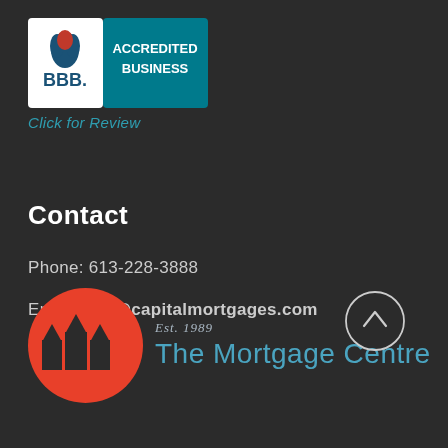[Figure (logo): BBB Accredited Business badge with teal background showing BBB flame logo and text ACCREDITED BUSINESS]
Click for Review
Contact
Phone: 613-228-3888
Email: info@capitalmortgages.com
[Figure (logo): The Mortgage Centre logo with red circular icon containing three house silhouettes and teal text reading The Mortgage Centre with Est. 1989 above in italic, plus a circular arrow up button on the right]